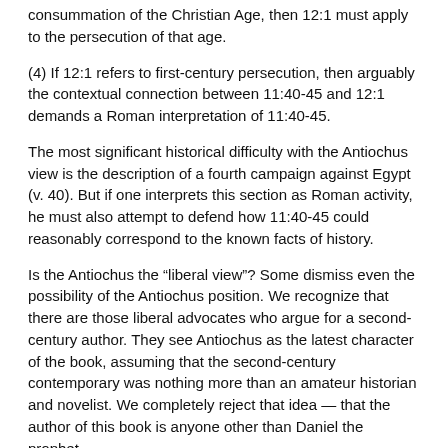consummation of the Christian Age, then 12:1 must apply to the persecution of that age.
(4) If 12:1 refers to first-century persecution, then arguably the contextual connection between 11:40-45 and 12:1 demands a Roman interpretation of 11:40-45.
The most significant historical difficulty with the Antiochus view is the description of a fourth campaign against Egypt (v. 40). But if one interprets this section as Roman activity, he must also attempt to defend how 11:40-45 could reasonably correspond to the known facts of history.
Is the Antiochus the “liberal view”? Some dismiss even the possibility of the Antiochus position. We recognize that there are those liberal advocates who argue for a second-century author. They see Antiochus as the latest character of the book, assuming that the second-century contemporary was nothing more than an amateur historian and novelist. We completely reject that idea — that the author of this book is anyone other than Daniel the prophet